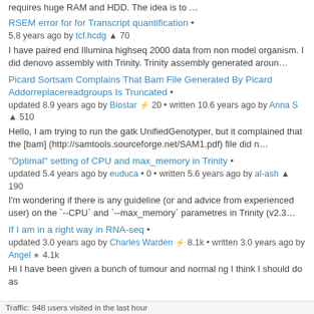requires huge RAM and HDD. The idea is to …
RSEM error for for Transcript quantification • 5.8 years ago by tcf.hcdg ▲ 70
I have paired end Illumina highseq 2000 data from non model organism. I did denovo assembly with Trinity. Trinity assembly generated aroun…
Picard Sortsam Complains That Bam File Generated By Picard Addorreplacereadgroups Is Truncated • updated 8.9 years ago by Biostar ⚡ 20 • written 10.6 years ago by Anna S ▲ 510
Hello, I am trying to run the gatk UnifiedGenotyper, but it complained that the [bam] (http://samtools.sourceforge.net/SAM1.pdf) file did n…
"Optimal" setting of CPU and max_memory in Trinity • updated 5.4 years ago by euduca • 0 • written 5.6 years ago by al-ash ▲ 190
I'm wondering if there is any guideline (or and advice from experienced user) on the `--CPU` and `--max_memory` parametres in Trinity (v2.3…
If I am in a right way in RNA-seq • updated 3.0 years ago by Charles Warden ⚡ 8.1k • written 3.0 years ago by Angel ★ 4.1k
Hi I have been given a bunch of tumour and normal ng I think I should do as
Traffic: 948 users visited in the last hour